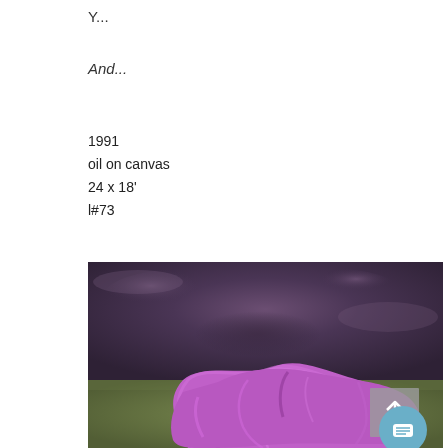Y...
And...
1991
oil on canvas
24 x 18'
l#73
[Figure (photo): Oil painting showing a bright purple/violet draped cloth resting on an olive green surface, against a moody dark purple background with subtle cloud-like textures.]